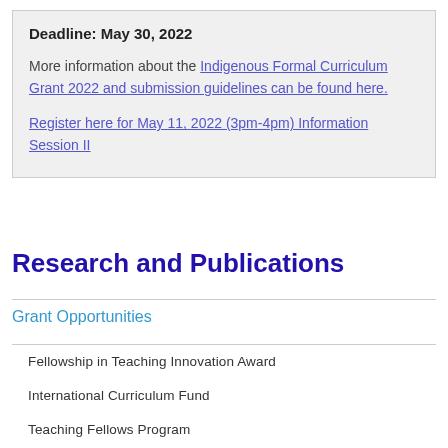Deadline: May 30, 2022
More information about the Indigenous Formal Curriculum Grant 2022 and submission guidelines can be found here.
Register here for May 11, 2022 (3pm-4pm) Information Session II
Research and Publications
Grant Opportunities
Fellowship in Teaching Innovation Award
International Curriculum Fund
Teaching Fellows Program